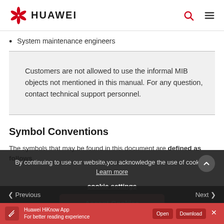HUAWEI
System maintenance engineers
Customers are not allowed to use the informal MIB objects not mentioned in this manual. For any question, contact technical support personnel.
Symbol Conventions
The symbols that may be found in this document are defined as follows
By continuing to use our website, you acknowledge the use of cookies. Learn more
cookie settings
Accept Cookies
Reject Cookies
Previous   Next